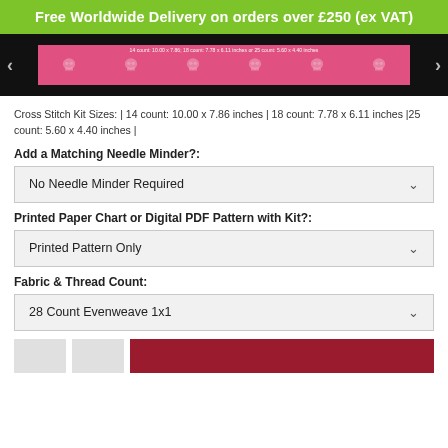Free Worldwide Delivery on orders over £250 (ex VAT)
[Figure (photo): Product image strip showing a pink cross stitch design with skull motifs on black background, with navigation arrows on each side. Text overlay reads: 14 count: 10.00 x 7.86; 18 count: 7.78 x 6.11 inches or 25 count: 5.60 x 4.40 inches]
Cross Stitch Kit Sizes: | 14 count: 10.00 x 7.86 inches | 18 count: 7.78 x 6.11 inches | 25 count: 5.60 x 4.40 inches |
Add a Matching Needle Minder?:
No Needle Minder Required
Printed Paper Chart or Digital PDF Pattern with Kit?:
Printed Pattern Only
Fabric & Thread Count:
28 Count Evenweave 1x1